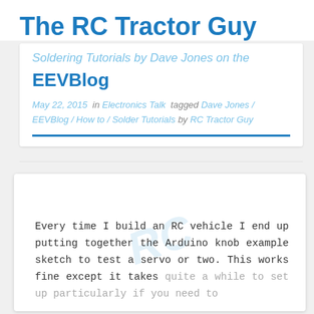The RC Tractor Guy
Soldering Tutorials by Dave Jones on the EEVBlog
May 22, 2015  in Electronics Talk  tagged Dave Jones / EEVBlog / How to / Solder Tutorials by RC Tractor Guy
Every time I build an RC vehicle I end up putting together the Arduino knob example sketch to test a servo or two. This works fine except it takes quite a while to set up particularly if you need to